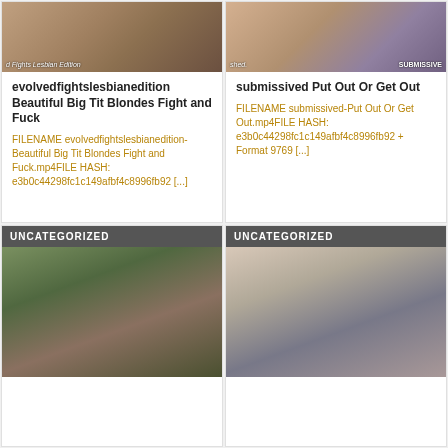[Figure (photo): Top-left card image for evolvedfightslesbianedition]
evolvedfightslesbianedition Beautiful Big Tit Blondes Fight and Fuck
FILENAME evolvedfightslesbianedition-Beautiful Big Tit Blondes Fight and Fuck.mp4FILE HASH: e3b0c44298fc1c149afbf4c8996fb92 [...]
[Figure (photo): Top-right card image for submissived Put Out Or Get Out]
submissived Put Out Or Get Out
FILENAME submissived-Put Out Or Get Out.mp4FILE HASH: e3b0c44298fc1c149afbf4c8996fb92 + Format 9769 [...]
UNCATEGORIZED
[Figure (photo): Bottom-left uncategorized card image]
UNCATEGORIZED
[Figure (photo): Bottom-right uncategorized card image]